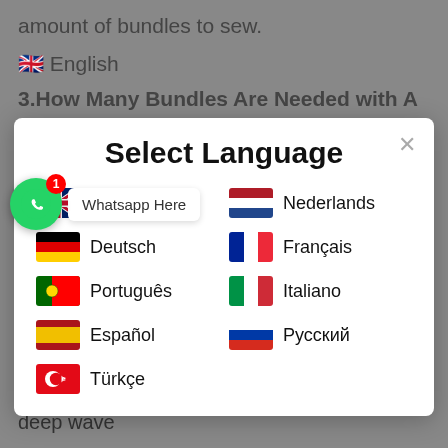amount of bundles to sew.
🇬🇧 English
3.How Many Bundles Are Needed with A Closure
[Figure (screenshot): Select Language modal dialog with language options: Nederlands, English, Français, Deutsch, Italiano, Português, Русский, Español, Türkçe, each with their country flag icons. A WhatsApp Here button is visible on the left side.]
straightening the curly hair, not the length after curling. In other words, for straight hair and deep wave hair of the same length, visually, deep wave